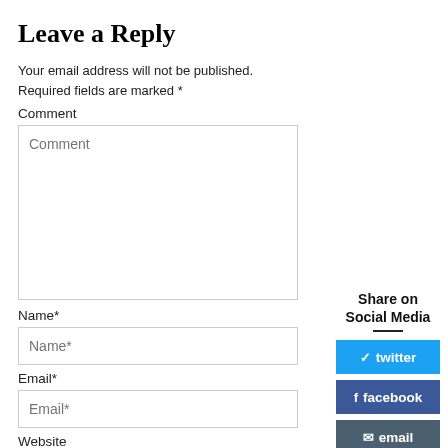Leave a Reply
Your email address will not be published. Required fields are marked *
Comment
[Figure (screenshot): Comment textarea input field with placeholder text 'Comment']
Name*
[Figure (screenshot): Name* text input field]
Email*
[Figure (screenshot): Email* text input field]
Website
Share on Social Media
[Figure (infographic): Social media share buttons: twitter (blue), facebook (dark blue), email (dark slate)]